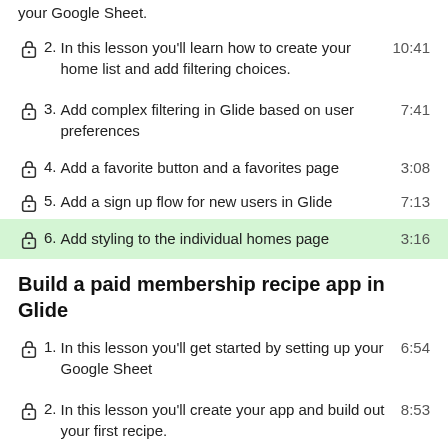your Google Sheet.
In this lesson you'll learn how to create your home list and add filtering choices.
Add complex filtering in Glide based on user preferences
Add a favorite button and a favorites page
Add a sign up flow for new users in Glide
Add styling to the individual homes page
Build a paid membership recipe app in Glide
In this lesson you'll get started by setting up your Google Sheet
In this lesson you'll create your app and build out your first recipe.
In this lesson you'll finish styling your recipes